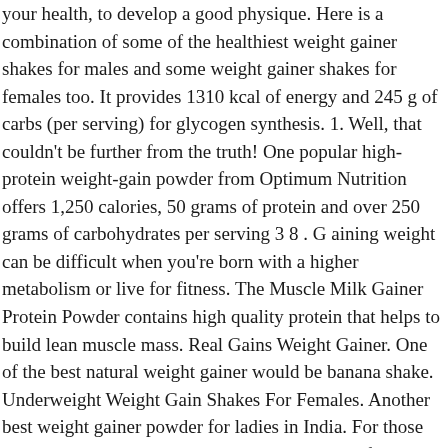your health, to develop a good physique. Here is a combination of some of the healthiest weight gainer shakes for males and some weight gainer shakes for females too. It provides 1310 kcal of energy and 245 g of carbs (per serving) for glycogen synthesis. 1. Well, that couldn't be further from the truth! One popular high-protein weight-gain powder from Optimum Nutrition offers 1,250 calories, 50 grams of protein and over 250 grams of carbohydrates per serving 3 8 . G aining weight can be difficult when you're born with a higher metabolism or live for fitness. The Muscle Milk Gainer Protein Powder contains high quality protein that helps to build lean muscle mass. Real Gains Weight Gainer. One of the best natural weight gainer would be banana shake. Underweight Weight Gain Shakes For Females. Another best weight gainer powder for ladies in India. For those looking to combat the malnourishment that so often accompanies anorexia, weight gain shakes can offer a convenient, reliable way to take in the calories, protein and nutrients needed to